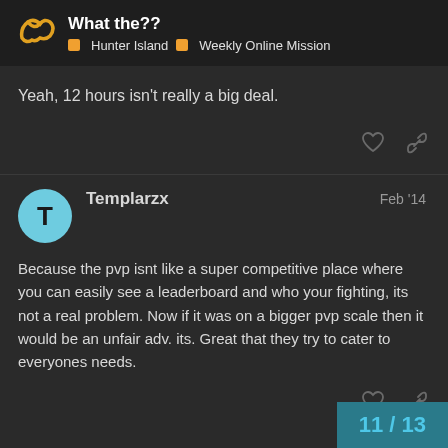What the?? | Hunter Island | Weekly Online Mission
Yeah, 12 hours isn't really a big deal.
Templarzx  Feb '14
Because the pvp isnt like a super competitive place where you can easily see a leaderboard and who your fighting, its not a real problem. Now if it was on a bigger pvp scale then it would be an unfair adv. its. Great that they try to cater to everyones needs.
11 / 13